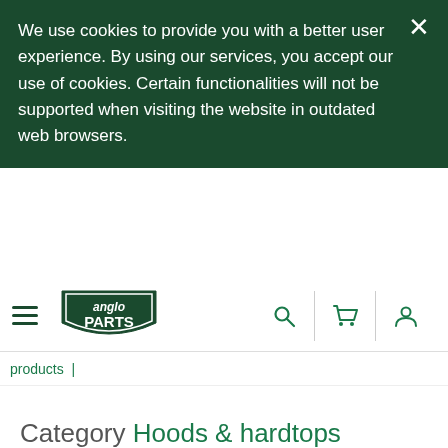We use cookies to provide you with a better user experience. By using our services, you accept our use of cookies. Certain functionalities will not be supported when visiting the website in outdated web browsers.
[Figure (logo): Anglo Parts logo - green shield with 'anglo PARTS' text]
products |
Category Hoods & hardtops
Soft top & frame
Tonneau cover
Category Air intake & fuel delivery